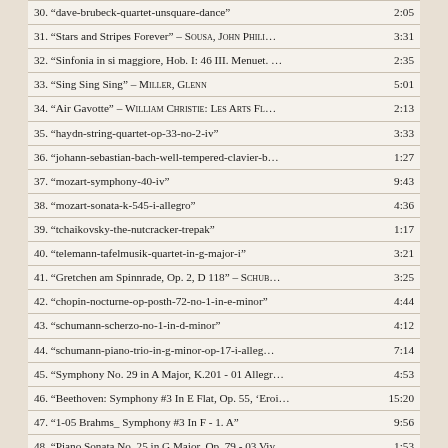| Track | Duration |
| --- | --- |
| 30. “dave-brubeck-quartet-unsquare-dance” | 2:05 |
| 31. “Stars and Stripes Forever” – SOUSA, JOHN PHILI... | 3:31 |
| 32. “Sinfonia in si maggiore, Hob. I: 46 III. Menuet. ... | 2:35 |
| 33. “Sing Sing Sing” – MILLER, GLENN | 5:01 |
| 34. “Air Gavotte” – WILLIAM CHRISTIE: LES ARTS FL... | 2:13 |
| 35. “haydn-string-quartet-op-33-no-2-iv” | 3:33 |
| 36. “johann-sebastian-bach-well-tempered-clavier-b... | 1:27 |
| 37. “mozart-symphony-40-iv” | 9:43 |
| 38. “mozart-sonata-k-545-i-allegro” | 4:36 |
| 39. “tchaikovsky-the-nutcracker-trepak” | 1:17 |
| 40. “telemann-tafelmusik-quartet-in-g-major-i” | 3:21 |
| 41. “Gretchen am Spinnrade, Op. 2, D 118” – SCHUB... | 3:25 |
| 42. “chopin-nocturne-op-posth-72-no-1-in-e-minor” | 4:44 |
| 43. “schumann-scherzo-no-1-in-d-minor” | 4:12 |
| 44. “schumann-piano-trio-in-g-minor-op-17-i-alleg... | 7:14 |
| 45. “Symphony No. 29 in A Major, K.201 - 01 Allegr... | 4:53 |
| 46. “Beethoven: Symphony #3 In E Flat, Op. 55, 'Eroi... | 15:20 |
| 47. “1-05 Brahms_ Symphony #3 In F - 1. A” | 9:56 |
| 48. “Piano Sonata No. 25 in G Major, Op. 79 - 03 Viv... | 1:53 |
| 49. “String Quartet In C Sharp Minor, Op. 131 - 2. Al... | 2:45 |